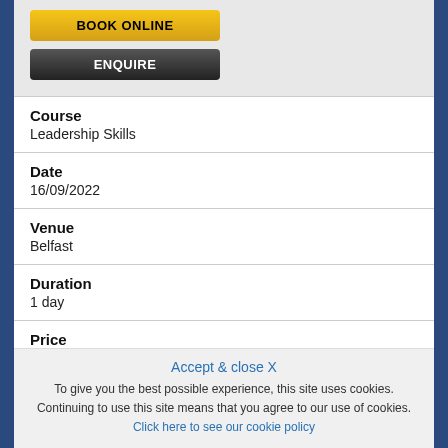[Figure (screenshot): Yellow BOOK ONLINE button and dark grey ENQUIRE button on grey background]
| Course | Leadership Skills |
| Date | 16/09/2022 |
| Venue | Belfast |
| Duration | 1 day |
| Price | £3995 |
Accept & close X
To give you the best possible experience, this site uses cookies. Continuing to use this site means that you agree to our use of cookies. Click here to see our cookie policy